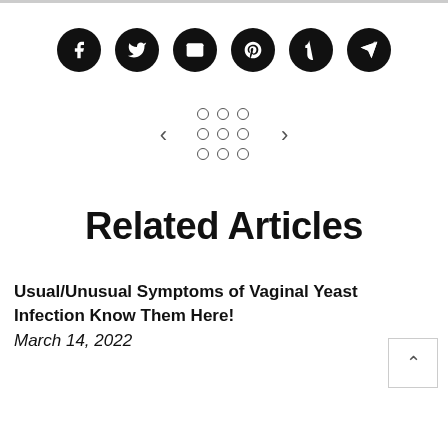[Figure (infographic): Six social media sharing icons in black circles: Facebook (f), Twitter (bird), Email (envelope), Pinterest (p), Tumblr (t), Telegram (arrow)]
[Figure (infographic): Navigation element with left chevron arrow, 3x3 grid of empty circles (dots), and right chevron arrow]
Related Articles
Usual/Unusual Symptoms of Vaginal Yeast Infection Know Them Here!
March 14, 2022